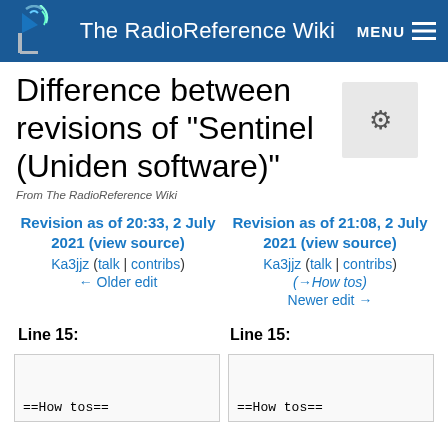The RadioReference Wiki
Difference between revisions of "Sentinel (Uniden software)"
From The RadioReference Wiki
Revision as of 20:33, 2 July 2021 (view source)
Ka3jjz (talk | contribs)
← Older edit
Revision as of 21:08, 2 July 2021 (view source)
Ka3jjz (talk | contribs)
(→How tos)
Newer edit →
Line 15:
Line 15:
==How tos==
==How tos==